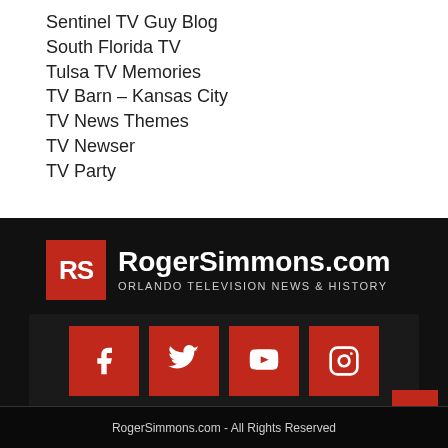Sentinel TV Guy Blog
South Florida TV
Tulsa TV Memories
TV Barn – Kansas City
TV News Themes
TV Newser
TV Party
[Figure (logo): RogerSimmons.com logo with red RS box and white text, tagline: ORLANDO TELEVISION NEWS & HISTORY]
[Figure (infographic): Social media icons: Facebook, Twitter, YouTube, Instagram on dark background]
RogerSimmons.com - All Rights Reserved